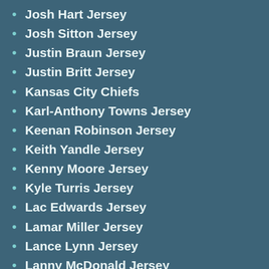Josh Hart Jersey
Josh Sitton Jersey
Justin Braun Jersey
Justin Britt Jersey
Kansas City Chiefs
Karl-Anthony Towns Jersey
Keenan Robinson Jersey
Keith Yandle Jersey
Kenny Moore Jersey
Kyle Turris Jersey
Lac Edwards Jersey
Lamar Miller Jersey
Lance Lynn Jersey
Lanny McDonald Jersey
Los Angeles Chargers
Luke Kunin Jersey
Madison Bowey Jersey